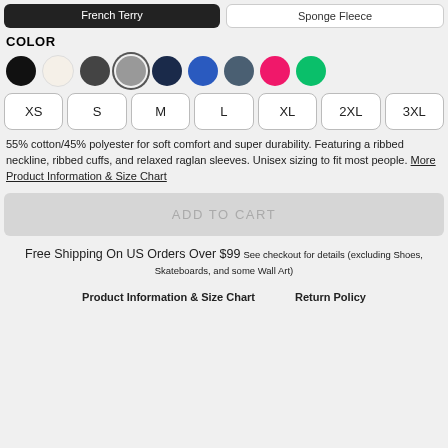[Figure (other): Two product type buttons at top: 'French Terry' (black filled) and 'Sponge Fleece' (white outlined)]
COLOR
[Figure (other): Nine color swatches: black, cream/white, dark gray, gray (selected with ring), navy, blue, slate, hot pink, green]
[Figure (other): Size selector buttons: XS, S, M, L, XL, 2XL, 3XL]
55% cotton/45% polyester for soft comfort and super durability. Featuring a ribbed neckline, ribbed cuffs, and relaxed raglan sleeves. Unisex sizing to fit most people. More Product Information & Size Chart
[Figure (other): ADD TO CART button (greyed out)]
Free Shipping On US Orders Over $99 See checkout for details (excluding Shoes, Skateboards, and some Wall Art)
Product Information & Size Chart     Return Policy